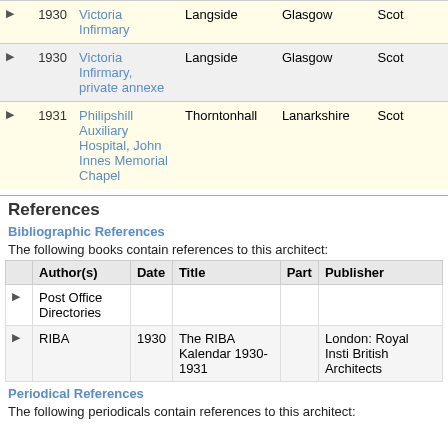|  | Year | Name | Place | County | Country |
| --- | --- | --- | --- | --- | --- |
| ▶ | 1930 | Victoria Infirmary | Langside | Glasgow | Scot |
| ▶ | 1930 | Victoria Infirmary, private annexe | Langside | Glasgow | Scot |
| ▶ | 1931 | Philipshill Auxiliary Hospital, John Innes Memorial Chapel | Thorntonhall | Lanarkshire | Scot |
References
Bibliographic References
The following books contain references to this architect:
|  | Author(s) | Date | Title | Part | Publisher |
| --- | --- | --- | --- | --- | --- |
| ▶ | Post Office Directories |  |  |  |  |
| ▶ | RIBA | 1930 | The RIBA Kalendar 1930-1931 |  | London: Royal Insti British Architects |
Periodical References
The following periodicals contain references to this architect: